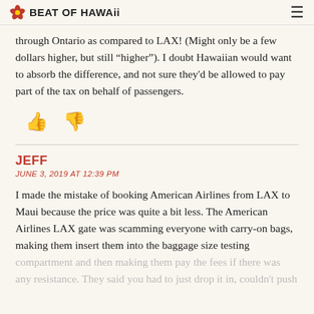BEAT OF HAWAii
through Ontario as compared to LAX! (Might only be a few dollars higher, but still “higher”). I doubt Hawaiian would want to absorb the difference, and not sure they'd be allowed to pay part of the tax on behalf of passengers.
[Figure (illustration): Thumbs up and thumbs down reaction icons in dark red/maroon color]
JEFF
JUNE 3, 2019 AT 12:39 PM
I made the mistake of booking American Airlines from LAX to Maui because the price was quite a bit less. The American Airlines LAX gate was scamming everyone with carry-on bags, making them insert them into the baggage size testing compartment and then making them pay the fees if there was any resistance. They said you had to just drop it in, couldn't push